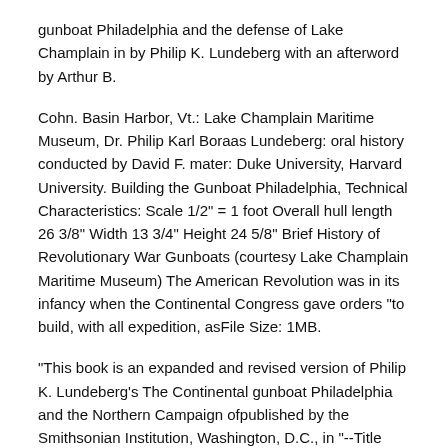gunboat Philadelphia and the defense of Lake Champlain in by Philip K. Lundeberg with an afterword by Arthur B.
Cohn. Basin Harbor, Vt.: Lake Champlain Maritime Museum, Dr. Philip Karl Boraas Lundeberg: oral history conducted by David F. mater: Duke University, Harvard University. Building the Gunboat Philadelphia, Technical Characteristics: Scale 1/2" = 1 foot Overall hull length 26 3/8" Width 13 3/4" Height 24 5/8" Brief History of Revolutionary War Gunboats (courtesy Lake Champlain Maritime Museum) The American Revolution was in its infancy when the Continental Congress gave orders "to build, with all expedition, asFile Size: 1MB.
"This book is an expanded and revised version of Philip K. Lundeberg's The Continental gunboat Philadelphia and the Northern Campaign ofpublished by the Smithsonian Institution, Washington, D.C., in "--Title page verso. Find helpful customer reviews and review ratings for The Continental gunboat Philadelphia and the Northern Campaign ofat Read honest.